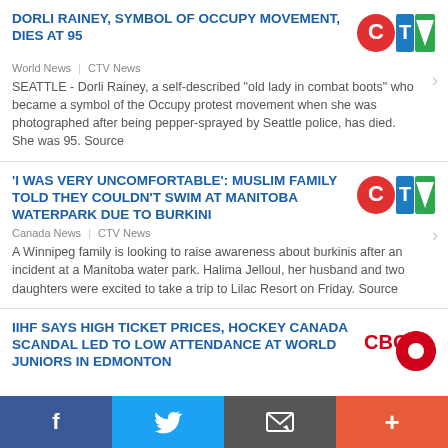DORLI RAINEY, SYMBOL OF OCCUPY MOVEMENT, DIES AT 95
World News | CTV News
SEATTLE - Dorli Rainey, a self-described "old lady in combat boots" who became a symbol of the Occupy protest movement when she was photographed after being pepper-sprayed by Seattle police, has died. She was 95. Source
'I WAS VERY UNCOMFORTABLE': MUSLIM FAMILY TOLD THEY COULDN'T SWIM AT MANITOBA WATERPARK DUE TO BURKINI
Canada News | CTV News
A Winnipeg family is looking to raise awareness about burkinis after an incident at a Manitoba water park. Halima Jelloul, her husband and two daughters were excited to take a trip to Lilac Resort on Friday. Source
IIHF SAYS HIGH TICKET PRICES, HOCKEY CANADA SCANDAL LED TO LOW ATTENDANCE AT WORLD JUNIORS IN EDMONTON